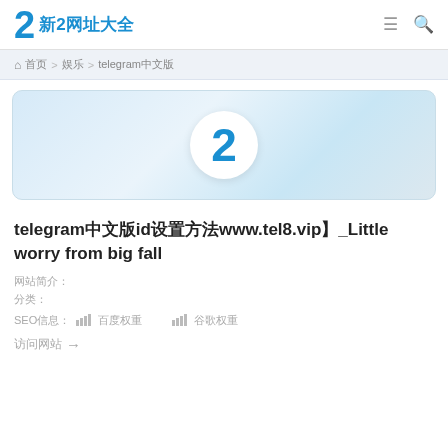2 新2网址大全
首页 > 娱乐 > telegram中文版
[Figure (logo): Blue circle with number 2 on a light blue gradient banner background]
telegram中文版id设置方法www.tel8.vip】_Little worry from big fall
网站简介：
分类：
SEO信息： 百度权重  谷歌权重
访问网站→